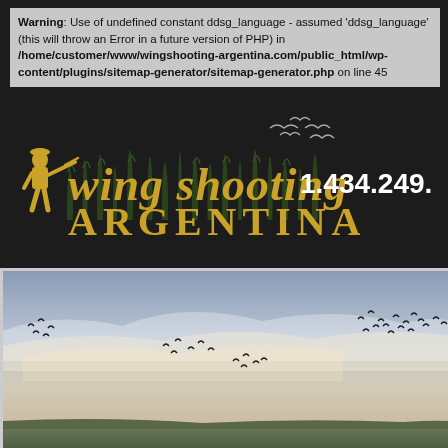Warning: Use of undefined constant ddsg_language - assumed 'ddsg_language' (this will throw an Error in a future version of PHP) in /home/customer/www/wingshooting-argentina.com/public_html/wp-content/plugins/sitemap-generator/sitemap-generator.php on line 45
[Figure (logo): Wing Shooting Argentina logo with hunter silhouette, birds in flight, reeds/grasses, golden text 'wing shooting ARGENTINA', and phone number 1.434.249.]
[Figure (photo): Outdoor sky scene at dusk/dawn with birds flying across a cloudy sky in an open field landscape.]